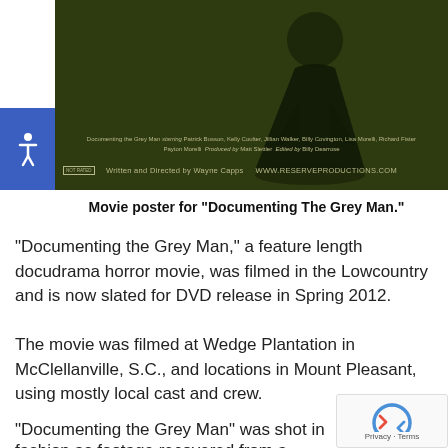[Figure (photo): Movie poster for 'Documenting The Grey Man' showing a dark silhouette figure against a textured background with cast and crew credits]
Movie poster for "Documenting The Grey Man."
"Documenting the Grey Man," a feature length docudrama horror movie, was filmed in the Lowcountry and is now slated for DVD release in Spring 2012.
The movie was filmed at Wedge Plantation in McClellanville, S.C., and locations in Mount Pleasant, using mostly local cast and crew.
"Documenting the Grey Man" was shot in true docu fashion as footage recovered from a ghost-hunting expedition. The movie follows a group of film enthusiasts